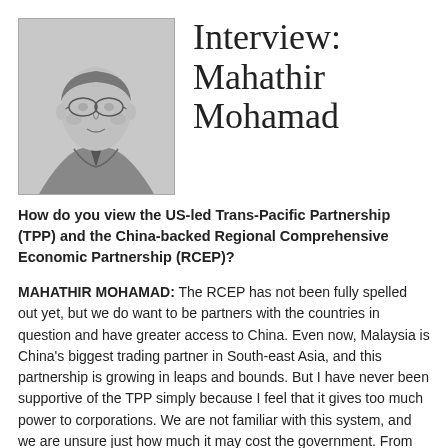[Figure (illustration): Pencil sketch portrait of Mahathir Mohamad, an older man wearing glasses and a suit, in grayscale.]
Interview: Mahathir Mohamad
How do you view the US-led Trans-Pacific Partnership (TPP) and the China-backed Regional Comprehensive Economic Partnership (RCEP)?
MAHATHIR MOHAMAD: The RCEP has not been fully spelled out yet, but we do want to be partners with the countries in question and have greater access to China. Even now, Malaysia is China's biggest trading partner in South-east Asia, and this partnership is growing in leaps and bounds. But I have never been supportive of the TPP simply because I feel that it gives too much power to corporations. We are not familiar with this system, and we are unsure just how much it may cost the government. From what we hear, corporations may be able to sue for billions of dollars for loss of future profits. We are also required to ensure that our laws conform to those of the TPP.